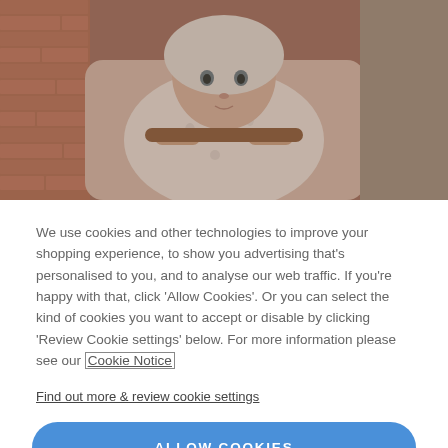[Figure (photo): A baby in a floral jacket sitting in a stroller, holding a bar, with a brick wall in the background. Image is dimmed/overlaid.]
We use cookies and other technologies to improve your shopping experience, to show you advertising that's personalised to you, and to analyse our web traffic. If you're happy with that, click 'Allow Cookies'. Or you can select the kind of cookies you want to accept or disable by clicking 'Review Cookie settings' below. For more information please see our Cookie Notice
Find out more & review cookie settings
ALLOW COOKIES